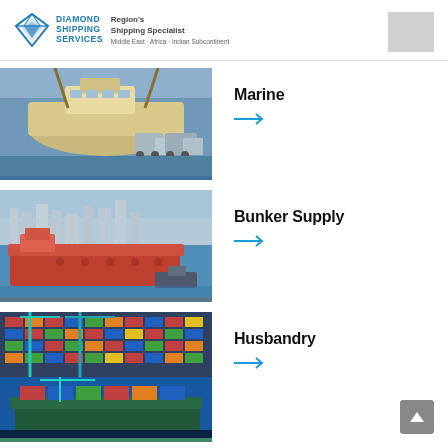Diamond Shipping Services — Region's Shipping Specialist — Middle East · Africa · Indian Subcontinent
Marine
[Figure (photo): Yacht being craned out of water at a marina with trucks in background]
Bunker Supply
[Figure (photo): Large red cargo/tanker ship on blue ocean water with city skyline in background]
Husbandry
[Figure (photo): Aerial view of container terminal with colorful shipping containers and cranes]